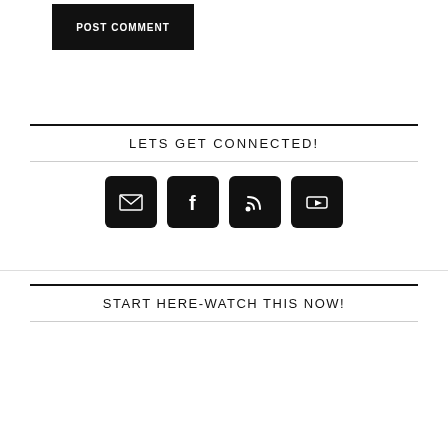POST COMMENT
LETS GET CONNECTED!
[Figure (infographic): Four social media icon buttons in dark squares: email/envelope, Facebook f, RSS feed, YouTube play button]
START HERE-WATCH THIS NOW!
[Figure (screenshot): YouTube video thumbnail showing 'Fort Worth Personal Tra...' with a person's avatar and a woman in the background]